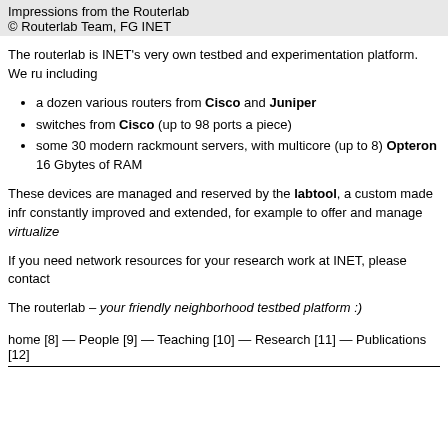Impressions from the Routerlab
© Routerlab Team, FG INET
The routerlab is INET's very own testbed and experimentation platform. We ru including
a dozen various routers from Cisco and Juniper
switches from Cisco (up to 98 ports a piece)
some 30 modern rackmount servers, with multicore (up to 8) Opteron 16 Gbytes of RAM
These devices are managed and reserved by the labtool, a custom made infr constantly improved and extended, for example to offer and manage virtualize
If you need network resources for your research work at INET, please contact
The routerlab – your friendly neighborhood testbed platform :)
home [8] — People [9] — Teaching [10] — Research [11] — Publications [12]